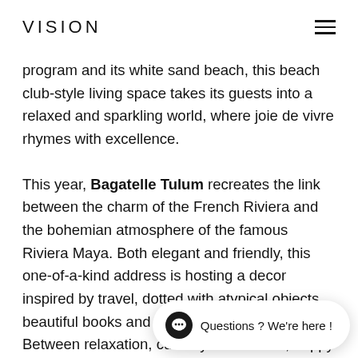VISION
program and its white sand beach, this beach club-style living space takes its guests into a relaxed and sparkling world, where joie de vivre rhymes with excellence.
This year, Bagatelle Tulum recreates the link between the charm of the French Riviera and the bohemian atmosphere of the famous Riviera Maya. Both elegant and friendly, this one-of-a-kind address is hosting a decor inspired by travel, dotted with atypical objects, beautiful books and vintage photographs. Between relaxation, culinary discoveries, happy music and an idyllic landscape, Bagatelle Tulum is the perfect match to experience unforge…